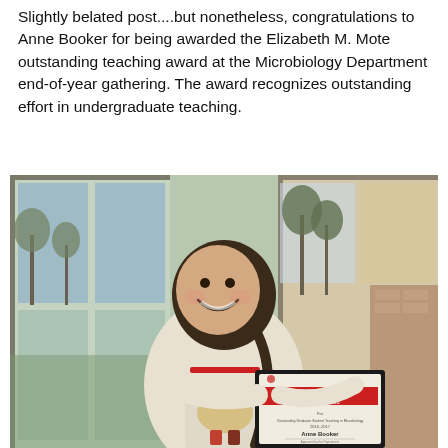Slightly belated post....but nonetheless, congratulations to Anne Booker for being awarded the Elizabeth M. Mote outstanding teaching award at the Microbiology Department end-of-year gathering. The award recognizes outstanding effort in undergraduate teaching.
[Figure (photo): A smiling woman with dark hair holding a framed certificate that reads 'Elizabeth M. Mote Memorial Award' with 'Anne Booker' printed on it, standing in front of large windows in a building.]